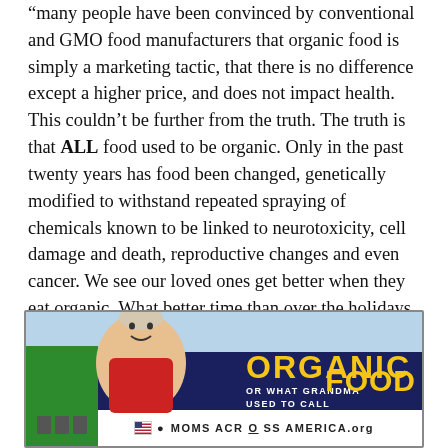"many people have been convinced by conventional and GMO food manufacturers that organic food is simply a marketing tactic, that there is no difference except a higher price, and does not impact health. This couldn't be further from the truth. The truth is that ALL food used to be organic. Only in the past twenty years has food been changed, genetically modified to withstand repeated spraying of chemicals known to be linked to neurotoxicity, cell damage and death, reproductive changes and even cancer. We see our loved ones get better when they eat organic. What better time than over the holidays, at family gatherings, to bring and serve organic food and start a conversation which can lead to improved health."
[Figure (photo): Promotional banner for Moms Across America featuring an elderly woman in a red apron, text 'ORGANIC OR WHAT GRANDMA USED TO CALL FOOD', with momsacrossamerica.org URL at the bottom]